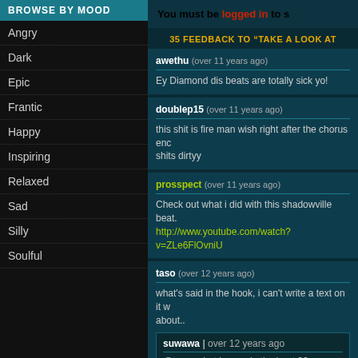BROWSE BY MOOD
Angry
Dark
Epic
Frantic
Happy
Inspiring
Relaxed
Sad
Silly
Soulful
You must be logged in to s
35 FEEDBACK TO “TAKE A LOOK AT
awethu (over 11 years ago)
Ey Diamond dis beats are totally sick yo!
doublep15 (over 11 years ago)
this shit is fire man wish right after the chorus enc shits dirtyy
prosspect (over 11 years ago)
Check out what i did with this shadowville beat.
http://www.youtube.com/watch?v=ZLe6FlOvniU
taso (over 12 years ago)
what's said in the hook, i can't write a text on it w about...
suwawa | over 12 years ago
@taso, what he say in the beat ??